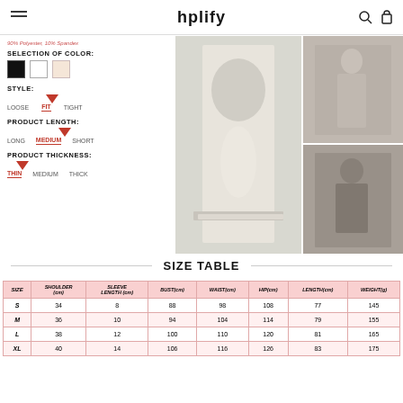hplify
90% Polyester, 10% Spandex
SELECTION OF COLOR:
Color swatches: black, white, beige
STYLE:
LOOSE  FIT (selected)  TIGHT
PRODUCT LENGTH:
LONG  MEDIUM (selected)  SHORT
PRODUCT THICKNESS:
THIN (selected)  MEDIUM  THICK
[Figure (photo): White lace-trim dress and black dress product photos collage]
SIZE TABLE
| SIZE | SHOULDER (cm) | SLEEVE LENGTH (cm) | BUST(cm) | WAIST(cm) | HIP(cm) | LENGTH(cm) | WEIGHT(g) |
| --- | --- | --- | --- | --- | --- | --- | --- |
| S | 34 | 8 | 88 | 98 | 108 | 77 | 145 |
| M | 36 | 10 | 94 | 104 | 114 | 79 | 155 |
| L | 38 | 12 | 100 | 110 | 120 | 81 | 165 |
| XL | 40 | 14 | 106 | 116 | 126 | 83 | 175 |